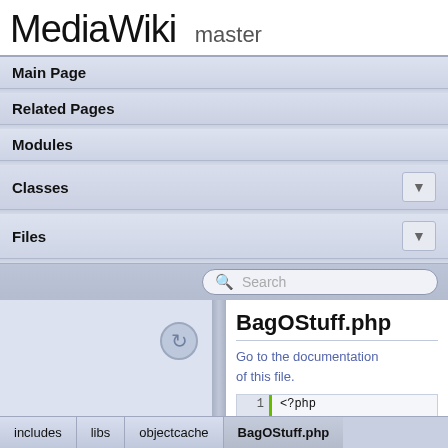MediaWiki  master
Main Page
Related Pages
Modules
Classes
Files
BagOStuff.php
Go to the documentation of this file.
1  <?php
29  use
includes  libs  objectcache  BagOStuff.php